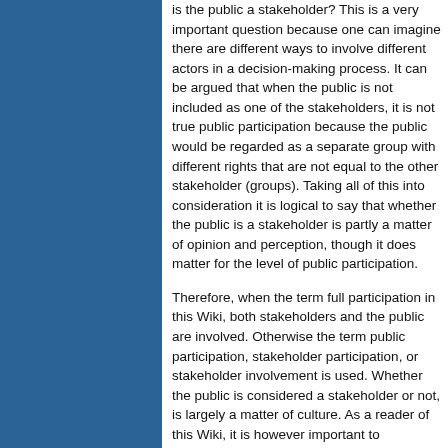is the public a stakeholder? This is a very important question because one can imagine there are different ways to involve different actors in a decision-making process. It can be argued that when the public is not included as one of the stakeholders, it is not true public participation because the public would be regarded as a separate group with different rights that are not equal to the other stakeholder (groups). Taking all of this into consideration it is logical to say that whether the public is a stakeholder is partly a matter of opinion and perception, though it does matter for the level of public participation.
Therefore, when the term full participation in this Wiki, both stakeholders and the public are involved. Otherwise the term public participation, stakeholder participation, or stakeholder involvement is used. Whether the public is considered a stakeholder or not, is largely a matter of culture. As a reader of this Wiki, it is however important to acknowledge and to at